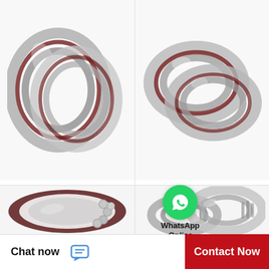[Figure (photo): SKF angular contact ball bearing 7206ACD/P4AQBTC - thin section ring bearing, two rings shown]
SKF 7206ACD/P4AQBTC
7206ACD/P4AQBTC SKF Super Precision,Super…
[Figure (photo): SKF angular contact ball bearing 7206ACD/P4ADGC - two stacked thin section rings]
SKF 7206ACD/P4ADGC
7206ACD/P4ADGC SKF Super Precision,Super…
[Figure (photo): SKF angular contact ball bearing - dark maroon/silver bearing with visible ball elements]
[Figure (photo): SKF angular contact ball bearings - two metallic bearings stacked]
[Figure (logo): WhatsApp green circle icon with phone handset, labeled WhatsApp Online]
WhatsApp
Online
Chat now
Contact Now